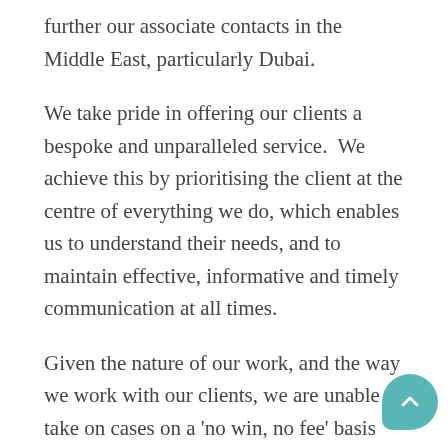further our associate contacts in the Middle East, particularly Dubai.
We take pride in offering our clients a bespoke and unparalleled service.  We achieve this by prioritising the client at the centre of everything we do, which enables us to understand their needs, and to maintain effective, informative and timely communication at all times.
Given the nature of our work, and the way we work with our clients, we are unable to take on cases on a 'no win, no fee' basis and we also do not offer any legal aid representation.  However, our friendly client services team will be able to recommend other legal service providers if we are unable to assist you.